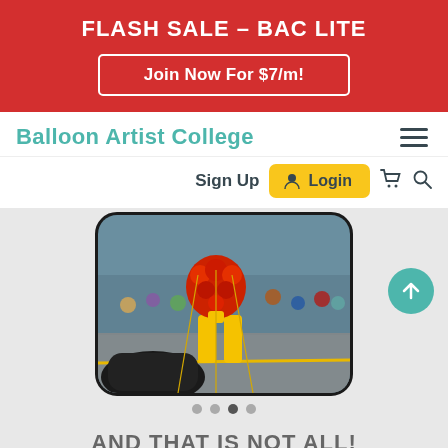FLASH SALE – BAC LITE
Join Now For $7/m!
Balloon Artist College
Sign Up
Login
[Figure (photo): Photo of a balloon animal costume (rooster/turkey shape with red and yellow balloons) at a parade, visible crowd in background. Shown inside a rounded phone-style frame with slide indicator dots.]
AND THAT IS NOT ALL!
Enroll Now and Get 2 FREE